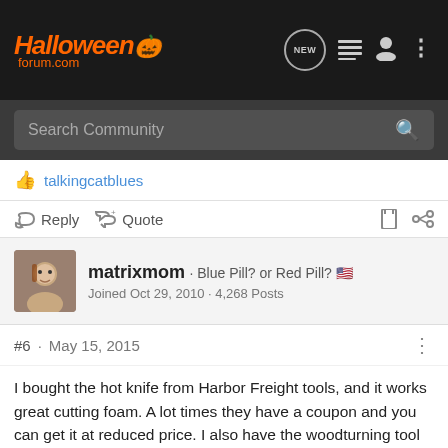HalloweenForum.com
Search Community
talkingcatblues
Reply   Quote
matrixmom · Blue Pill? or Red Pill? 🇺🇸 Joined Oct 29, 2010 · 4,268 Posts
#6 · May 15, 2015
I bought the hot knife from Harbor Freight tools, and it works great cutting foam. A lot times they have a coupon and you can get it at reduced price. I also have the woodturning tool from Michael's (had a 50% off 1 item) and I have used on funkins, but its slow -go. Plus you still have to wear a heavy duty mask because of the toxic fumes. I prefer doing it with the dremel and the snake attachment if you don't have it already: its a lot easier